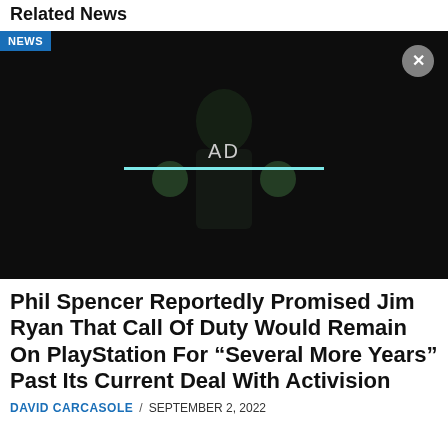Related News
[Figure (screenshot): Dark video player with a NEWS badge in the top-left, an X close button in the top-right, an AD label and cyan progress bar overlaid in the center, and a shadowy figure visible in the background.]
Phil Spencer Reportedly Promised Jim Ryan That Call Of Duty Would Remain On PlayStation For “Several More Years” Past Its Current Deal With Activision
DAVID CARCASOLE / SEPTEMBER 2, 2022